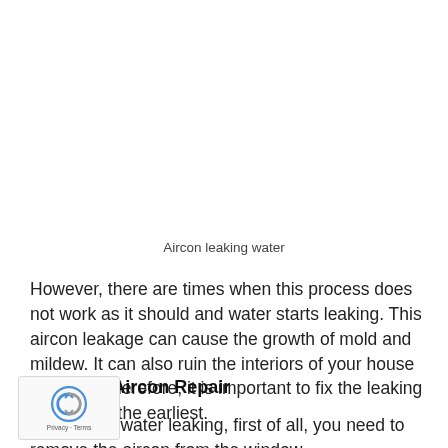Aircon leaking water
However, there are times when this process does not work as it should and water starts leaking. This aircon leakage can cause the growth of mold and mildew. It can also ruin the interiors of your house or office. Therefore, it is important to fix the leaking problem at the earliest.
Steps for Aircon Repair
To stop the water leaking, first of all, you need to remove the aircon from the window